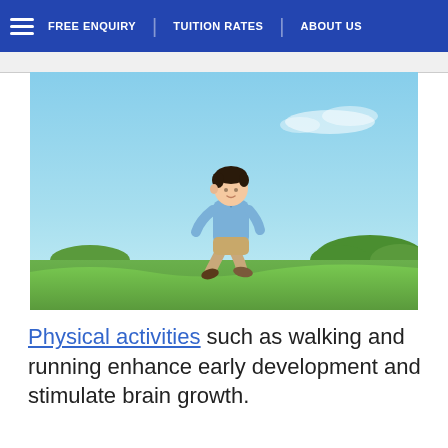FREE ENQUIRY | TUITION RATES | ABOUT US
[Figure (photo): Young boy in blue shirt and khaki shorts running across a green grassy field under a bright blue sky]
Physical activities such as walking and running enhance early development and stimulate brain growth.